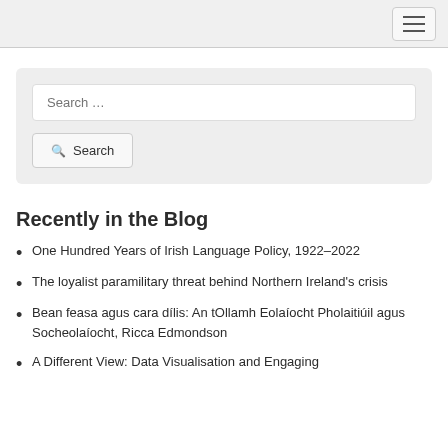Navigation toggle button
Search ...
Search
Recently in the Blog
One Hundred Years of Irish Language Policy, 1922–2022
The loyalist paramilitary threat behind Northern Ireland's crisis
Bean feasa agus cara dílis: An tOllamh Eolaíocht Pholaitiúil agus Socheolaíocht, Ricca Edmondson
A Different View: Data Visualisation and Engaging